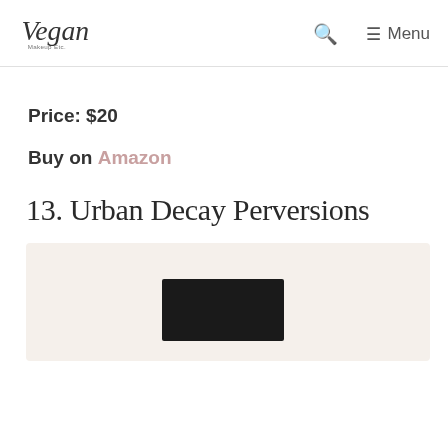Vegan Makeup Etc. — Search — Menu
Price: $20
Buy on Amazon
13. Urban Decay Perversions
[Figure (photo): Product image of Urban Decay Perversions palette on a beige/cream background, showing a rectangular dark palette swatch]